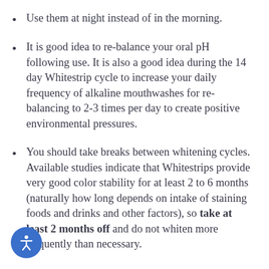Use them at night instead of in the morning.
It is good idea to re-balance your oral pH following use. It is also a good idea during the 14 day Whitestrip cycle to increase your daily frequency of alkaline mouthwashes for re-balancing to 2-3 times per day to create positive environmental pressures.
You should take breaks between whitening cycles. Available studies indicate that Whitestrips provide very good color stability for at least 2 to 6 months (naturally how long depends on intake of staining foods and drinks and other factors), so take at least 2 months off and do not whiten more frequently than necessary.